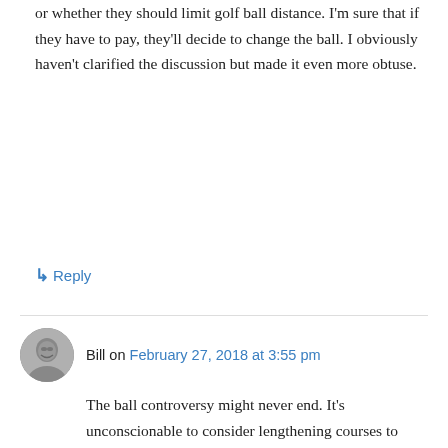or whether they should limit golf ball distance. I'm sure that if they have to pay, they'll decide to change the ball. I obviously haven't clarified the discussion but made it even more obtuse.
↳ Reply
Bill on February 27, 2018 at 3:55 pm
The ball controversy might never end. It's unconscionable to consider lengthening courses to 8000 yard–that's a financial penalty course owners may never recover. Frank's criteria for the discussion are inspired, putting the onus on the microfraction of golfers who can hit a driver over 250 yards AND who make their living in the game. There are just too few of them to spoil the